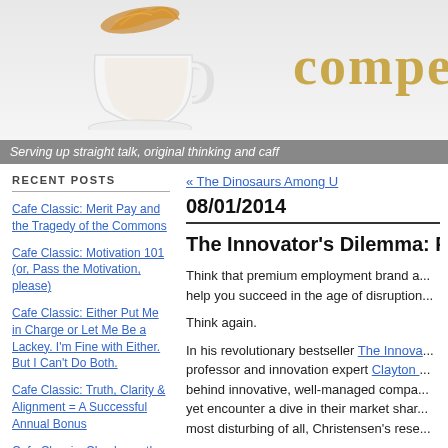[Figure (screenshot): Blog header banner with a coffee cup splashing and the site name 'compe...' in gold text]
Serving up straight talk, original thinking and caff...
RECENT POSTS
Cafe Classic: Merit Pay and the Tragedy of the Commons
Cafe Classic: Motivation 101 (or, Pass the Motivation, please)
Cafe Classic: Either Put Me in Charge or Let Me Be a Lackey. I'm Fine with Either. But I Can't Do Both.
Cafe Classic: Truth, Clarity & Alignment = A Successful Annual Bonus
Cafe Classic: Checks on the Chalkboard
Cafe Classic: Are You Adding Value?
« The Dinosaurs Among U...
08/01/2014
The Innovator's Dilemma: R...
Think that premium employment brand and... help you succeed in the age of disruption...
Think again.
In his revolutionary bestseller The Innova... professor and innovation expert Clayton ... behind innovative, well-managed compa... yet encounter a dive in their market shar... most disturbing of all, Christensen's rese...